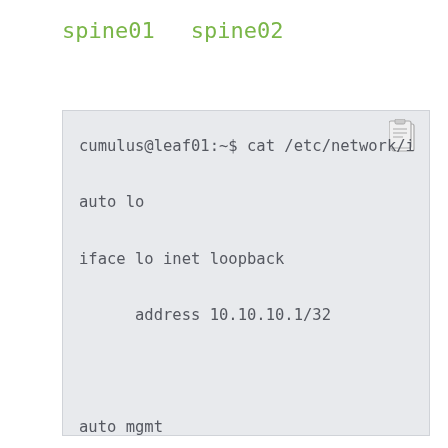spine01    spine02
[Figure (screenshot): Terminal code box showing network interface configuration file contents for cumulus@leaf01, including loopback interface with address 10.10.10.1/32, mgmt interface with vrf-table auto, address 127.0.0.1/8, address ::1/128, and auto eth0]
cumulus@leaf01:~$ cat /etc/network/i
auto lo
iface lo inet loopback
      address 10.10.10.1/32


auto mgmt
iface mgmt
      vrf-table auto
      address 127.0.0.1/8
      address ::1/128


auto eth0